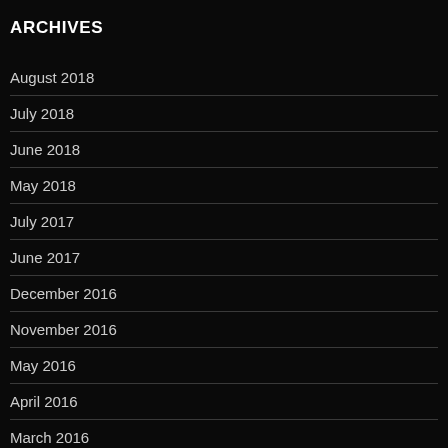ARCHIVES
August 2018
July 2018
June 2018
May 2018
July 2017
June 2017
December 2016
November 2016
May 2016
April 2016
March 2016